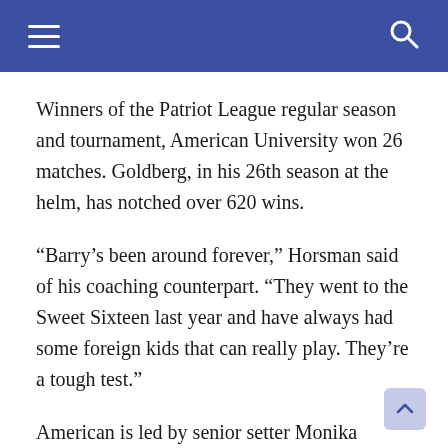Winners of the Patriot League regular season and tournament, American University won 26 matches. Goldberg, in his 26th season at the helm, has notched over 620 wins.
“Barry’s been around forever,” Horsman said of his coaching counterpart. “They went to the Sweet Sixteen last year and have always had some foreign kids that can really play. They’re a tough test.”
American is led by senior setter Monika Smidova, who took home Patriot League Player of the Year and Patriot League Setter of the Year for the second consecutive season. Smidova’s go-to options include